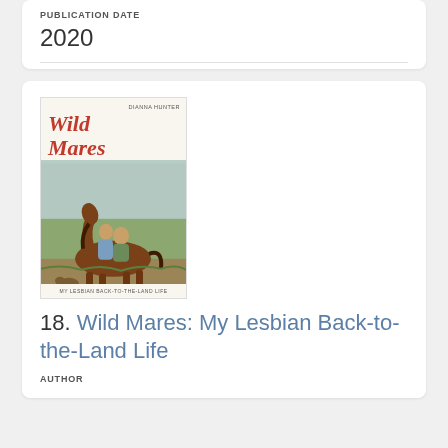PUBLICATION DATE
2020
[Figure (illustration): Book cover of 'Wild Mares: My Lesbian Back-to-the-Land Life' by Dianna Hunter, showing two people riding a horse in a field with a dog, title in red italic serif font]
18. Wild Mares: My Lesbian Back-to-the-Land Life
AUTHOR